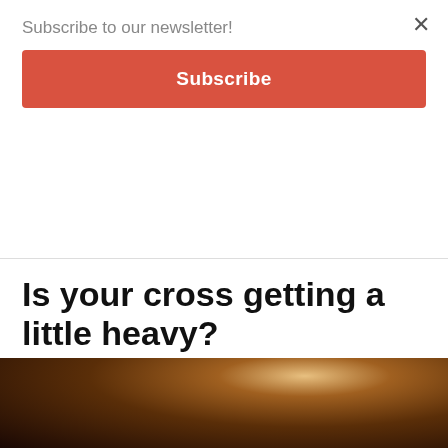Subscribe to our newsletter!
Subscribe
Is your cross getting a little heavy?
By Denver Catholic Staff   September 7, 2017   541   0
[Figure (screenshot): Social share buttons: share toggle, Facebook, Twitter, LinkedIn, Pinterest, Email, Print]
[Figure (photo): Religious painting showing Jesus carrying the cross with another man behind him, dark dramatic oil painting style]